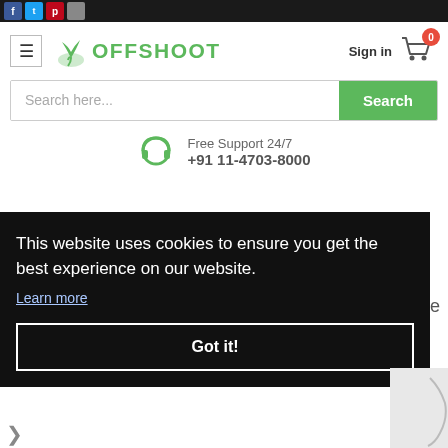Social media bar with Facebook, Twitter, Pinterest, Instagram icons
[Figure (logo): Offshoot logo with green plant icon and green text OFFSHOOT]
Sign in
[Figure (infographic): Shopping cart icon with red badge showing 0]
[Figure (infographic): Search bar with placeholder text 'Search here...' and green Search button]
[Figure (infographic): Green headphone icon for Free Support 24/7]
Free Support 24/7
+91 11-4703-8000
This website uses cookies to ensure you get the best experience on our website.
Learn more
Got it!